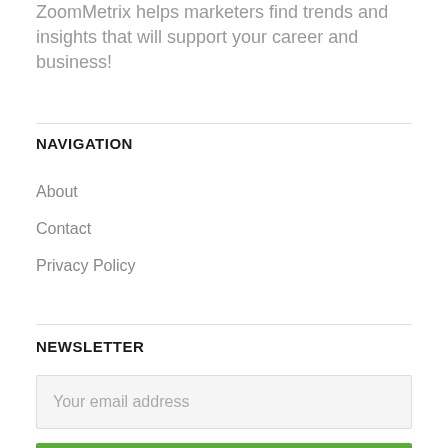ZoomMetrix helps marketers find trends and insights that will support your career and business!
NAVIGATION
About
Contact
Privacy Policy
NEWSLETTER
Your email address
Subscribe